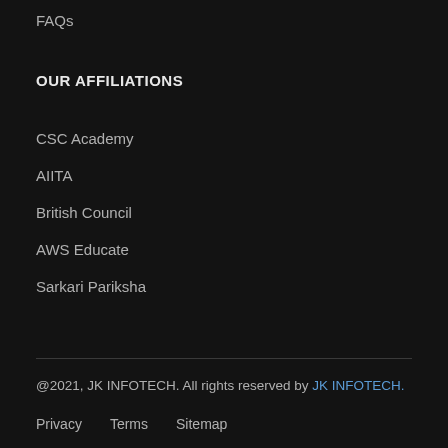FAQs
OUR AFFILIATIONS
CSC Academy
AIITA
British Council
AWS Educate
Sarkari Pariksha
@2021, JK INFOTECH. All rights reserved by JK INFOTECH.
Privacy   Terms   Sitemap